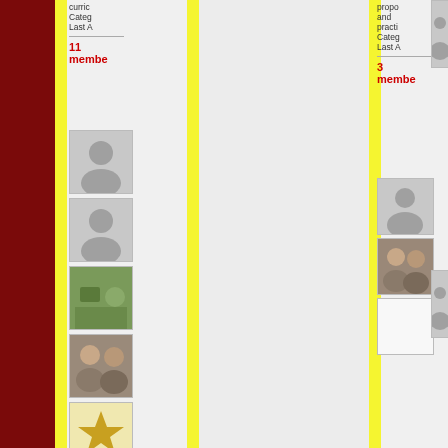[Figure (screenshot): Screenshot of a social network/group page showing two group cards side by side. Left group has truncated text 'curric', 'Categ', 'Last A' and shows 11 members with profile images including photos. Right group shows 'propo', 'and', 'practi', 'Categ', 'Last A' with 3 members and profile images. The right group has a Latest Discussion section saying 'This group doesn't have any discussions yet.' Both columns are bordered by yellow strips on a dark red left sidebar.]